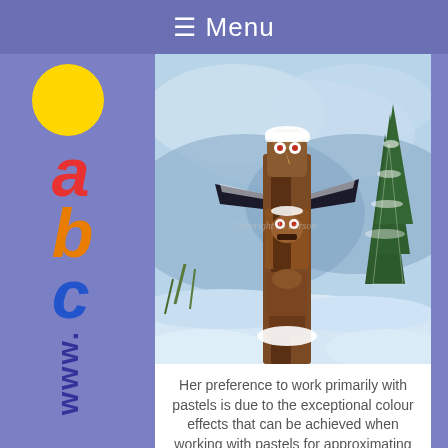≡ Menu
[Figure (illustration): Painting of a totem pole in a snowy winter landscape with snow-covered evergreen trees in the background. The totem pole features carved bird and face figures. Watermark reads 'Copyright Jo Larson'.]
Her preference to work primarily with pastels is due to the exceptional colour effects that can be achieved when working with pastels for approximating...